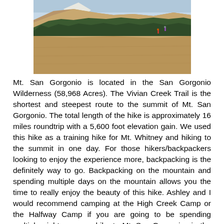[Figure (photo): Mountain landscape showing a rocky slope with pine trees and snow-capped peaks, two hikers visible on the slope]
Mt. San Gorgonio is located in the San Gorgonio Wilderness (58,968 Acres). The Vivian Creek Trail is the shortest and steepest route to the summit of Mt. San Gorgonio. The total length of the hike is approximately 16 miles roundtrip with a 5,600 foot elevation gain. We used this hike as a training hike for Mt. Whitney and hiking to the summit in one day. For those hikers/backpackers looking to enjoy the experience more, backpacking is the definitely way to go. Backpacking on the mountain and spending multiple days on the mountain allows you the time to really enjoy the beauty of this hike. Ashley and I would recommend camping at the High Creek Camp or the Halfway Camp if you are going to be spending multiple nights on your hike to Mt. San Gorgonio via the Vivian Creek Trail.
[Figure (photo): Sky and mountain vista with blue sky and distant mountain ridges]